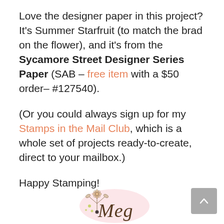Love the designer paper in this project? It's Summer Starfruit (to match the brad on the flower), and it's from the Sycamore Street Designer Series Paper (SAB – free item with a $50 order– #127540).

(Or you could always sign up for my Stamps in the Mail Club, which is a whole set of projects ready-to-create, direct to your mailbox.)

Happy Stamping!
[Figure (illustration): Decorative script signature reading 'Meg' with floral ornament illustration in pink and brown tones]